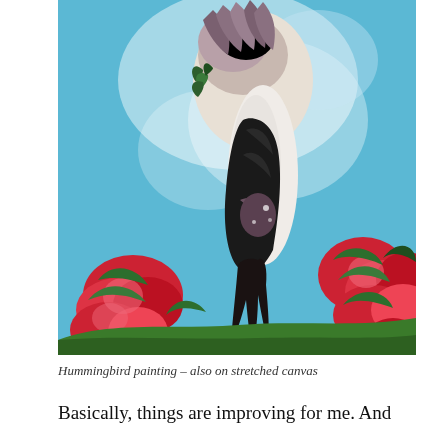[Figure (illustration): A painting of a hummingbird hovering, shown from below/side angle with wings spread. The bird has white and dark plumage with dark tail. Red flowers and green leaves are visible in the lower portion against a blue sky background. Painted on stretched canvas.]
Hummingbird painting – also on stretched canvas
Basically, things are improving for me. And